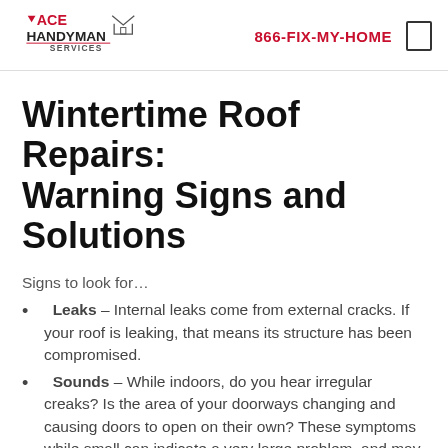ACE HANDYMAN SERVICES | 866-FIX-MY-HOME
Wintertime Roof Repairs: Warning Signs and Solutions
Signs to look for…
Leaks – Internal leaks come from external cracks. If your roof is leaking, that means its structure has been compromised.
Sounds – While indoors, do you hear irregular creaks? Is the area of your doorways changing and causing doors to open on their own? These symptoms while small can indicate a very large problem, and may be reason to vacate your home immediately to avoid a collapse.
Sagging – This is probably the easiest way to tell that your roof is about to go. If it is sagging from the